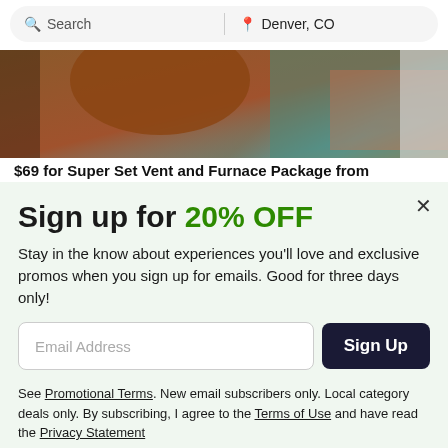[Figure (screenshot): Search bar with 'Search' on the left and 'Denver, CO' with a pin icon on the right]
[Figure (photo): Photo of a person in a plaid shirt working near a wall, partially visible]
$69 for Super Set Vent and Furnace Package from
Sign up for 20% OFF
Stay in the know about experiences you'll love and exclusive promos when you sign up for emails. Good for three days only!
Email Address
Sign Up
See Promotional Terms. New email subscribers only. Local category deals only. By subscribing, I agree to the Terms of Use and have read the Privacy Statement